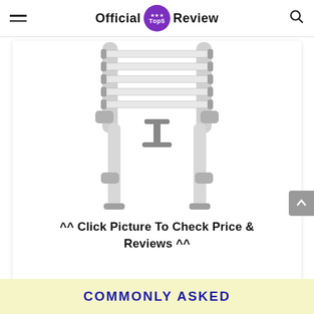Official Top5 Review
[Figure (illustration): A telescopic/extension ladder shown in a partially extended state, with gray metal rungs, side rails, and locking mechanisms, illustrated in a light gray color on white background.]
^^ Click Picture To Check Price & Reviews ^^
COMMONLY ASKED